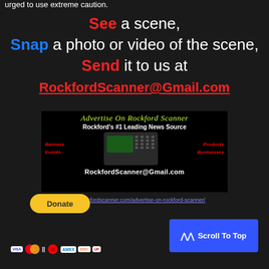urged to use extreme caution.
See a scene, Snap a photo or video of the scene, Send it to us at RockfordScanner@Gmail.com
[Figure (infographic): Advertisement banner for Rockford Scanner showing text 'Advertise On Rockford Scanner', 'Rockford's #1 Leading News Source', with categories Banners, Events, Products, Businesses and email RockfordScanner@Gmail.com]
https://rockfordscanner.com/advertise-on-rockford-scanner/
[Figure (other): Yellow PayPal Donate button with payment icons below (Visa, Mastercard, Maestro, American Express, Discover, UnionPay)]
Scroll To Top